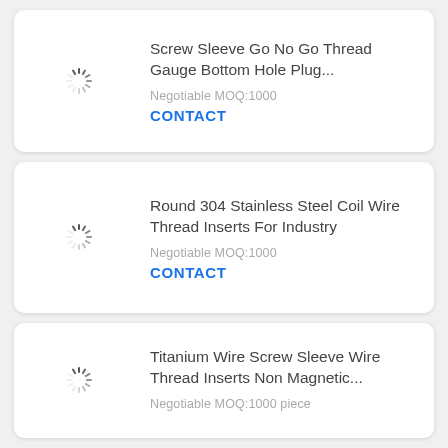[Figure (other): Loading spinner icon (circular dashed loader graphic)]
Screw Sleeve Go No Go Thread Gauge Bottom Hole Plug...
Negotiable MOQ:1000
CONTACT
[Figure (other): Loading spinner icon (circular dashed loader graphic)]
Round 304 Stainless Steel Coil Wire Thread Inserts For Industry
Negotiable MOQ:1000
CONTACT
[Figure (other): Loading spinner icon (circular dashed loader graphic)]
Titanium Wire Screw Sleeve Wire Thread Inserts Non Magnetic...
Negotiable MOQ:1000 piece